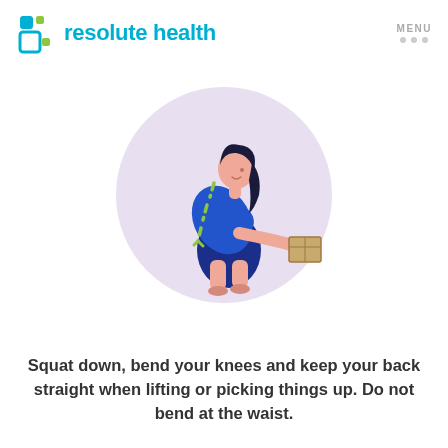resolute health  MENU
[Figure (illustration): Illustration of a pregnant woman bending at the waist (incorrectly) to pick up a cardboard box, shown inside a lavender circle. Green dashed arrows along her curved back indicate improper posture.]
Squat down, bend your knees and keep your back straight when lifting or picking things up. Do not bend at the waist.